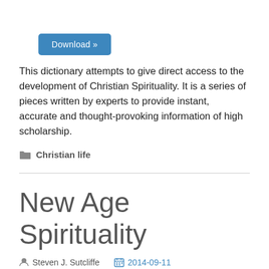[Figure (other): Blue download button with text 'Download »']
This dictionary attempts to give direct access to the development of Christian Spirituality. It is a series of pieces written by experts to provide instant, accurate and thought-provoking information of high scholarship.
Christian life
New Age Spirituality
Steven J. Sutcliffe   2014-09-11